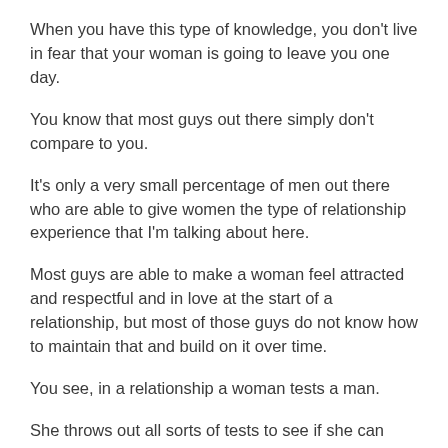When you have this type of knowledge, you don't live in fear that your woman is going to leave you one day.
You know that most guys out there simply don't compare to you.
It's only a very small percentage of men out there who are able to give women the type of relationship experience that I'm talking about here.
Most guys are able to make a woman feel attracted and respectful and in love at the start of a relationship, but most of those guys do not know how to maintain that and build on it over time.
You see, in a relationship a woman tests a man.
She throws out all sorts of tests to see if she can make him feel insecure, to see if she can gain power over him.